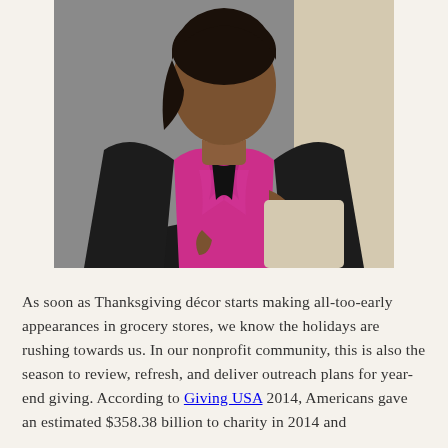[Figure (photo): A professional portrait photo of a woman of color wearing a black blazer over a bright magenta/fuchsia top with a silver necklace and bracelet, seated and looking at the camera.]
As soon as Thanksgiving décor starts making all-too-early appearances in grocery stores, we know the holidays are rushing towards us. In our nonprofit community, this is also the season to review, refresh, and deliver outreach plans for year-end giving. According to Giving USA 2014, Americans gave an estimated $358.38 billion to charity in 2014 and